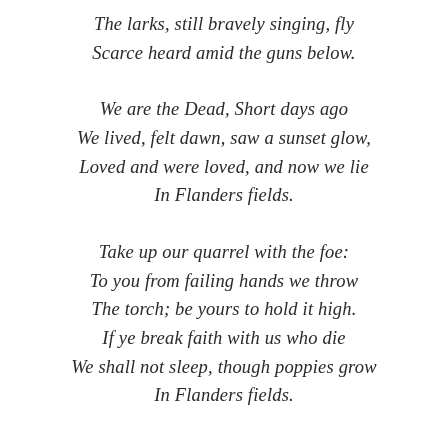The larks, still bravely singing, fly
Scarce heard amid the guns below.
We are the Dead, Short days ago
We lived, felt dawn, saw a sunset glow,
Loved and were loved, and now we lie
In Flanders fields.
Take up our quarrel with the foe:
To you from failing hands we throw
The torch; be yours to hold it high.
If ye break faith with us who die
We shall not sleep, though poppies grow
In Flanders fields.